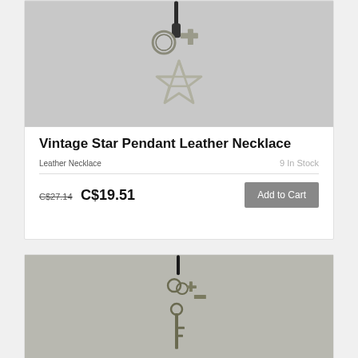[Figure (photo): Photo of a vintage star pendant leather necklace with silver star charm, ring and cross tag on black leather cord]
Vintage Star Pendant Leather Necklace
Leather Necklace
9 In Stock
C$27.14 C$19.51
Add to Cart
[Figure (photo): Photo of a vintage key pendant leather necklace with bronze/olive colored key, rings, cross and tag charms on black cord]